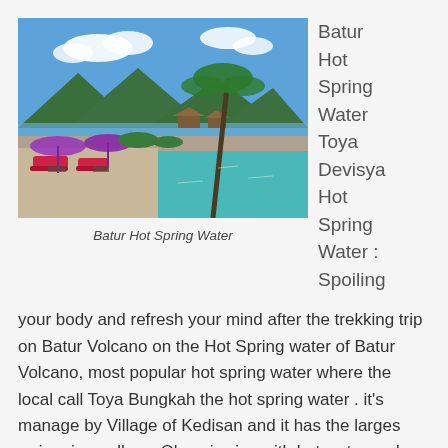[Figure (photo): Outdoor infinity pool area at Batur Hot Spring Water resort with purple umbrellas, lounge chairs, tropical palm trees, mountain and lake in background under blue sky with clouds]
Batur Hot Spring Water
Batur Hot Spring Water Toya Devisya Hot Spring Water : Spoiling
your body and refresh your mind after the trekking trip on Batur Volcano on the Hot Spring water of Batur Volcano, most popular hot spring water where the local call Toya Bungkah the hot spring water . it's manage by Village of Kedisan and it has the larges swimming polls as Olympic size with hot water and view Jacuzzi is sett up on beside of the